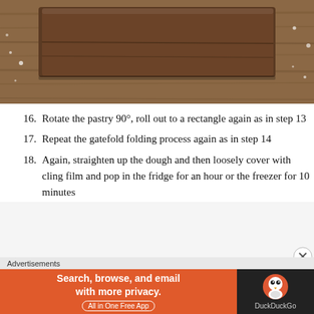[Figure (photo): Chocolate pastry dough folded on a floured wooden surface, viewed from above.]
16. Rotate the pastry 90°, roll out to a rectangle again as in step 13
17. Repeat the gatefold folding process again as in step 14
18. Again, straighten up the dough and then loosely cover with cling film and pop in the fridge for an hour or the freezer for 10 minutes
Advertisements
[Figure (screenshot): DuckDuckGo advertisement banner: 'Search, browse, and email with more privacy. All in One Free App' with DuckDuckGo logo on dark background.]